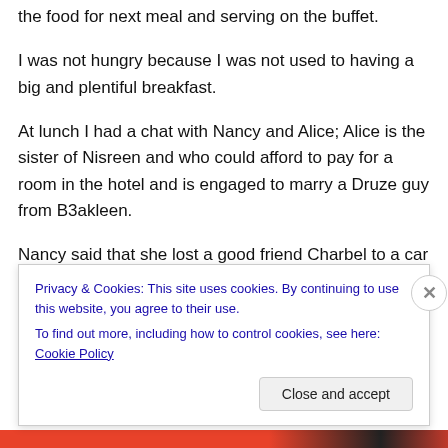the food for next meal and serving on the buffet.
I was not hungry because I was not used to having a big and plentiful breakfast.
At lunch I had a chat with Nancy and Alice; Alice is the sister of Nisreen and who could afford to pay for a room in the hotel and is engaged to marry a Druze guy from B3akleen.
Nancy said that she lost a good friend Charbel to a car accident: Charbel she said was a 29 year-old colleague at
Privacy & Cookies: This site uses cookies. By continuing to use this website, you agree to their use.
To find out more, including how to control cookies, see here: Cookie Policy